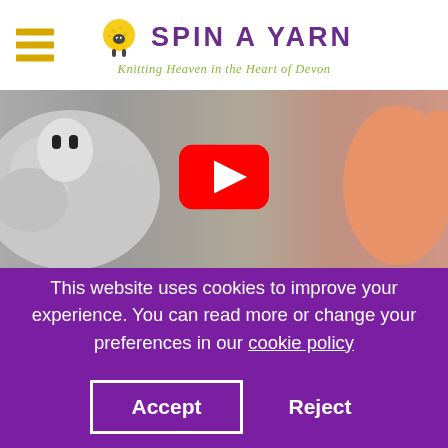[Figure (logo): Spin A Yarn logo with sheep icon, purple text 'SPIN A YARN' and green italic subtitle 'Knitting Heaven in the Heart of Devon']
[Figure (screenshot): YouTube video thumbnail showing animated sheep (Shaun the Sheep style) with a red YouTube play button overlay]
This website uses cookies to improve your experience. You can read more or change your preferences in our cookie policy
Accept
Reject